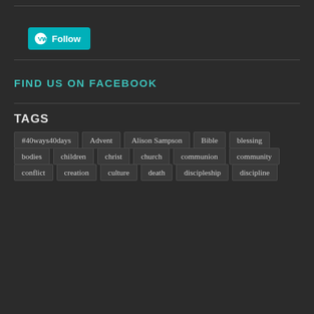[Figure (other): WordPress Follow button with teal background and WordPress logo icon]
FIND US ON FACEBOOK
TAGS
#40ways40days
Advent
Alison Sampson
Bible
blessing
bodies
children
christ
church
communion
community
conflict
creation
culture
death
discipleship
discipline